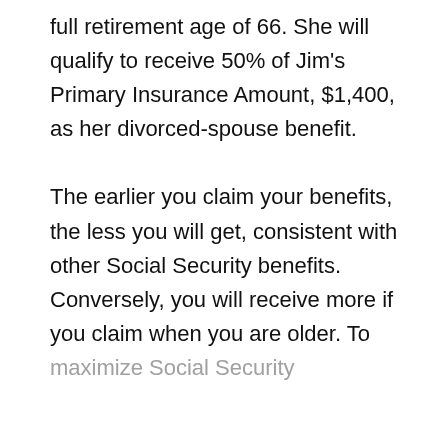full retirement age of 66. She will qualify to receive 50% of Jim's Primary Insurance Amount, $1,400, as her divorced-spouse benefit.

The earlier you claim your benefits, the less you will get, consistent with other Social Security benefits. Conversely, you will receive more if you claim when you are older. To maximize Social Security